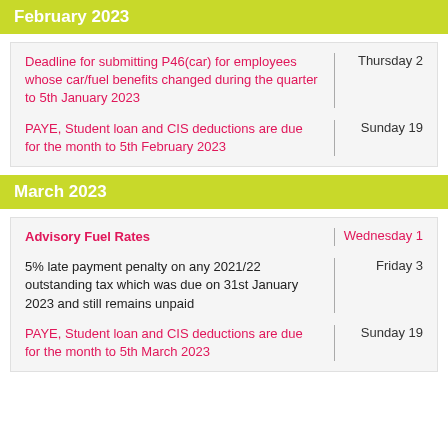February 2023
| Event | Date |
| --- | --- |
| Deadline for submitting P46(car) for employees whose car/fuel benefits changed during the quarter to 5th January 2023 | Thursday 2 |
| PAYE, Student loan and CIS deductions are due for the month to 5th February 2023 | Sunday 19 |
March 2023
| Event | Date |
| --- | --- |
| Advisory Fuel Rates | Wednesday 1 |
| 5% late payment penalty on any 2021/22 outstanding tax which was due on 31st January 2023 and still remains unpaid | Friday 3 |
| PAYE, Student loan and CIS deductions are due for the month to 5th March 2023 | Sunday 19 |